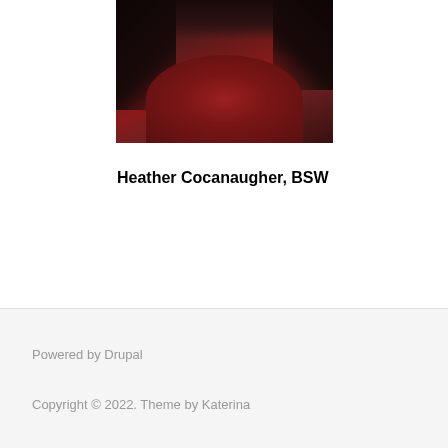[Figure (photo): Portrait photo of a person with dark hair wearing a red top, dark background]
Heather Cocanaugher, BSW
Powered by Drupal
Copyright © 2022. Theme by Katerina